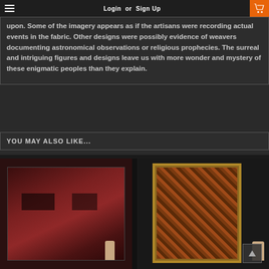Login or Sign Up
upon.  Some of the imagery appears as if the artisans were recording actual events in the fabric.   Other designs were possibly evidence of weavers documenting astronomical observations or religious prophecies.  The surreal and intriguing figures and designs leave us with more wonder and mystery of these enigmatic peoples than they explain.
YOU MAY ALSO LIKE...
[Figure (photo): Hands holding a red pre-Columbian textile fragment with dark geometric patches, displayed against dark background]
[Figure (photo): Framed pre-Columbian textile with diagonal diamond/geometric pattern in rust and gold tones, held by hands, displayed against dark background]